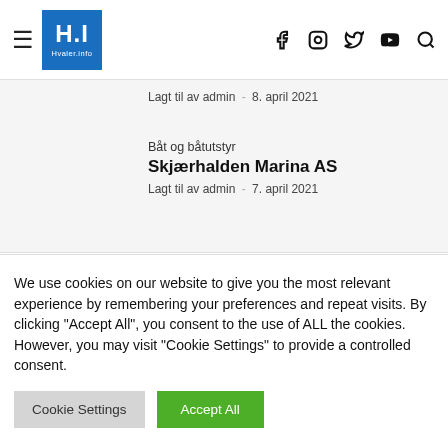H.I Hvaler.info — navigation header with hamburger menu and social icons
Lagt til av admin · 8. april 2021
Båt og båtutstyr
Skjærhalden Marina AS
Lagt til av admin · 7. april 2021
MÅ LESES
We use cookies on our website to give you the most relevant experience by remembering your preferences and repeat visits. By clicking "Accept All", you consent to the use of ALL the cookies. However, you may visit "Cookie Settings" to provide a controlled consent.
Cookie Settings  Accept All